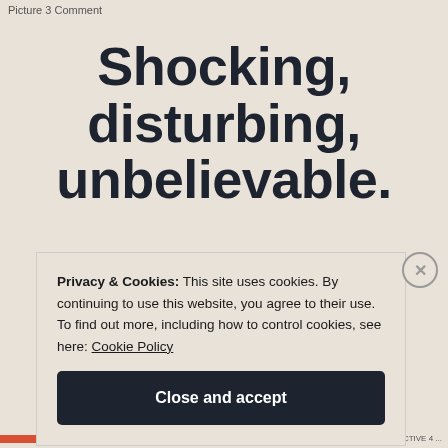Picture 3 Comment
Shocking, disturbing, unbelievable.
Privacy & Cookies: This site uses cookies. By continuing to use this website, you agree to their use. To find out more, including how to control cookies, see here: Cookie Policy
Close and accept